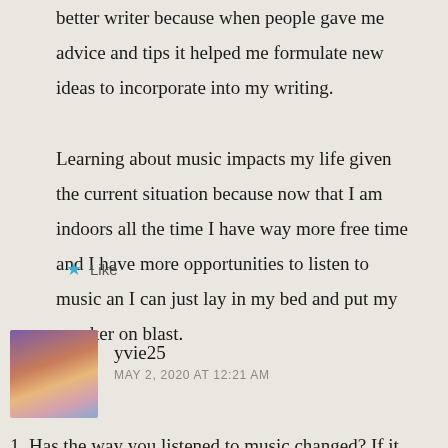better writer because when people gave me advice and tips it helped me formulate new ideas to incorporate into my writing. Learning about music impacts my life given the current situation because now that I am indoors all the time I have way more free time and I have more opportunities to listen to music an I can just lay in my bed and put my speaker on blast.
★ Like
yvie25
MAY 2, 2020 AT 12:21 AM
1. Has the way you listened to music changed? If it